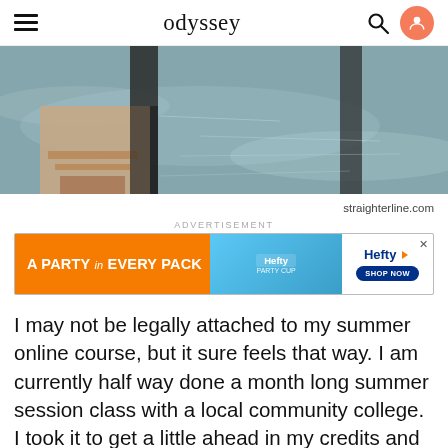odyssey
[Figure (photo): Close-up photo of feet wearing sandals on a wet wooden dock or pier, with water visible in the background]
straighterline.com
ADVERTISEMENT
[Figure (other): Advertisement banner for Hefty Party Cups: orange background with text 'A PARTY in EVERY PACK', product image, Hefty logo, and 'SHOP NOW' button]
I may not be legally attached to my summer online course, but it sure feels that way. I am currently half way done a month long summer session class with a local community college. I took it to get a little ahead in my credits and to finish up a section of my common core. I knew it was going to require a lot of